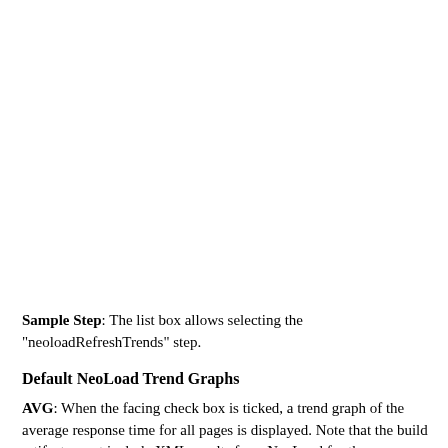Sample Step: The list box allows selecting the "neoloadRefreshTrends" step.
Default NeoLoad Trend Graphs
AVG: When the facing check box is ticked, a trend graph of the average response time for all pages is displayed. Note that the build artifacts must include XML results from NeoLoad for the